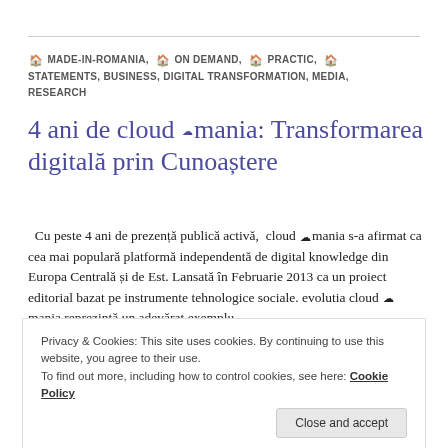🏠 MADE-IN-ROMANIA, 🏠 ON DEMAND, 🏠 PRACTIC, 🏠 STATEMENTS, BUSINESS, DIGITAL TRANSFORMATION, MEDIA, RESEARCH
4 ani de cloud ☁ mania: Transformarea digitală prin Cunoaștere
Cu peste 4 ani de prezență publică activă, cloud ☁ mania s-a afirmat ca cea mai populară platformă independentă de digital knowledge din Europa Centrală și de Est. Lansată în Februarie 2013 ca un proiect editorial bazat pe instrumente tehnologice sociale. evolutia cloud ☁ mania reprezintă un adevărat exemplu
Privacy & Cookies: This site uses cookies. By continuing to use this website, you agree to their use.
To find out more, including how to control cookies, see here: Cookie Policy
APRIL 19, 2017